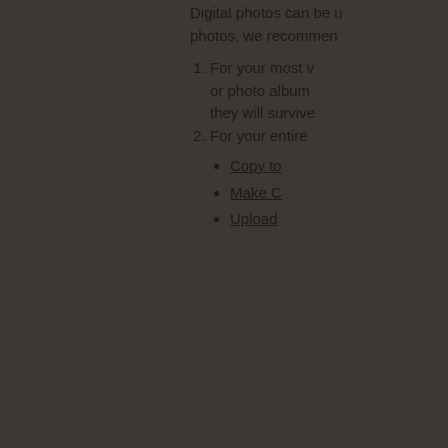Digital photos can be ... photos, we recommend ...
1. For your most v... or photo album... they will survive...
2. For your entire ...
Copy to...
Make C...
Upload...